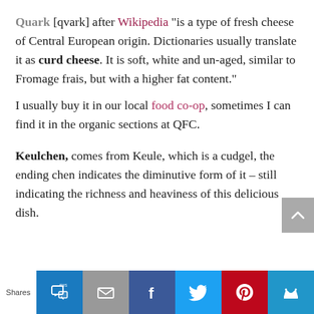Quark [qvark] after Wikipedia "is a type of fresh cheese of Central European origin. Dictionaries usually translate it as curd cheese. It is soft, white and un-aged, similar to Fromage frais, but with a higher fat content."
I usually buy it in our local food co-op, sometimes I can find it in the organic sections at QFC.
Keulchen, comes from Keule, which is a cudgel, the ending chen indicates the diminutive form of it – still indicating the richness and heaviness of this delicious dish.
[Figure (infographic): Social sharing bar at the bottom with Shares label and buttons: SMS (blue), Email (gray), Facebook (dark blue), Twitter (light blue), Pinterest (red), Crown (blue)]